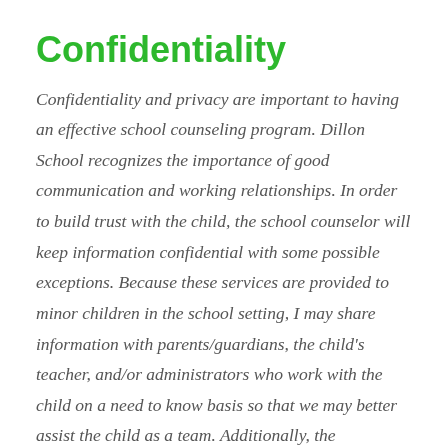Confidentiality
Confidentiality and privacy are important to having an effective school counseling program. Dillon School recognizes the importance of good communication and working relationships. In order to build trust with the child, the school counselor will keep information confidential with some possible exceptions. Because these services are provided to minor children in the school setting, I may share information with parents/guardians, the child's teacher, and/or administrators who work with the child on a need to know basis so that we may better assist the child as a team. Additionally, the information given during the counseling